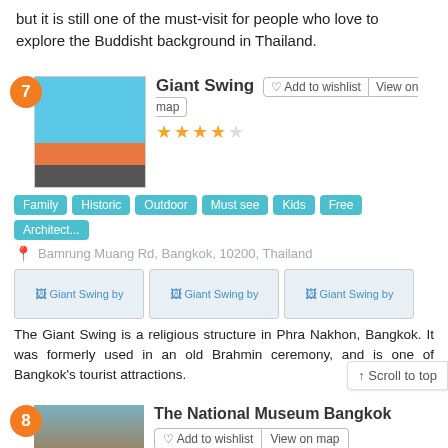but it is still one of the must-visit for people who love to explore the Buddisht background in Thailand.
7 Giant Swing
Add to wishlist | View on map
★★★★☆
Family | Historic | Outdoor | Must see | Kids | Free | Architect...
Bamrung Muang Rd, Bangkok, 10200, Thailand
[Figure (photo): Three thumbnail photos labeled Giant Swing by]
The Giant Swing is a religious structure in Phra Nakhon, Bangkok. It was formerly used in an old Brahmin ceremony, and is one of Bangkok's tourist attractions.
8 The National Museum Bangkok
Add to wishlist | View on map
★★★★☆
Cultural | Family | Historic | Museum | Must see | Kids
4 Na Phra That Bangkok Phra Nakhon 10200m Thailand